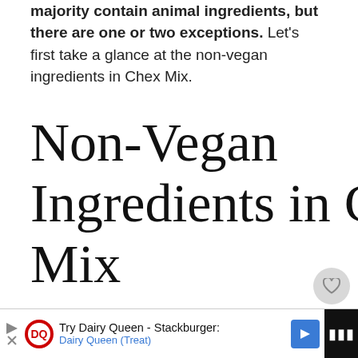majority contain animal ingredients, but there are one or two exceptions. Let's first take a glance at the non-vegan ingredients in Chex Mix.
Non-Vegan Ingredients in Chex Mix
[Figure (photo): Close-up photo of Chex Mix snack showing pretzels, crackers, and other mixed snack pieces]
[Figure (other): WHAT'S NEXT widget showing a photo of a person and text 'Is Gatorade Vegan?...']
[Figure (other): Advertisement bar: Try Dairy Queen - Stackburger: | Dairy Queen (Treat) with DQ logo and navigation arrow]